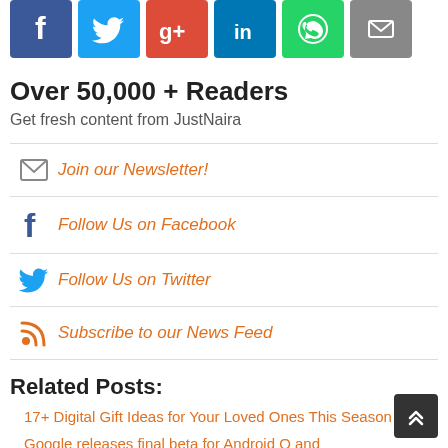[Figure (infographic): Row of social share buttons: Facebook (blue), Twitter (light blue), Google+ (red), LinkedIn (dark blue), WhatsApp (green), Email (gray)]
Over 50,000 + Readers
Get fresh content from JustNaira
Join our Newsletter!
Follow Us on Facebook
Follow Us on Twitter
Subscribe to our News Feed
Related Posts:
17+ Digital Gift Ideas for Your Loved Ones This Season
Google releases final beta for Android Q and